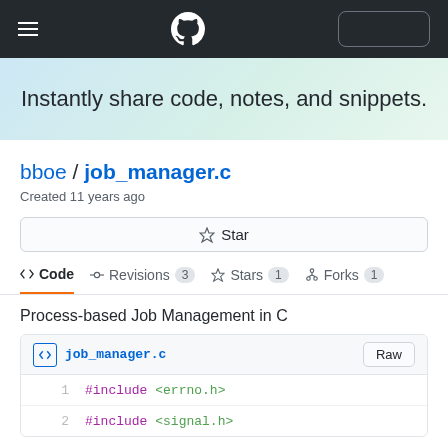GitHub navigation header with hamburger menu, GitHub logo, and button
Instantly share code, notes, and snippets.
bboe / job_manager.c
Created 11 years ago
☆ Star
<> Code   -O- Revisions 3   ☆ Stars 1   ⑂ Forks 1
Process-based Job Management in C
job_manager.c   Raw
1   #include <errno.h>
2   #include <signal.h>